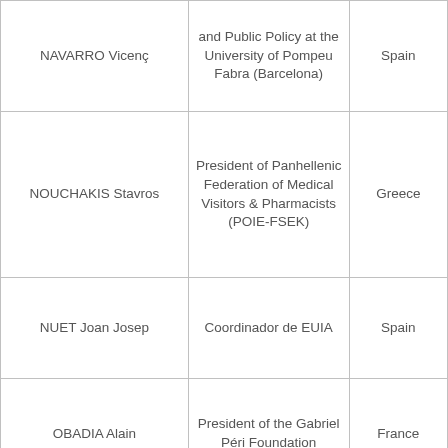| NAVARRO Vicenç | and Public Policy at the University of Pompeu Fabra (Barcelona) | Spain |
| NOUCHAKIS Stavros | President of Panhellenic Federation of Medical Visitors & Pharmacists (POIE-FSEK) | Greece |
| NUET Joan Josep | Coordinador de EUIA | Spain |
| OBADIA Alain | President of the Gabriel Péri Foundation | France |
| OMARJEE Younous | Member of the European Parliament, GUE/NGL | France |